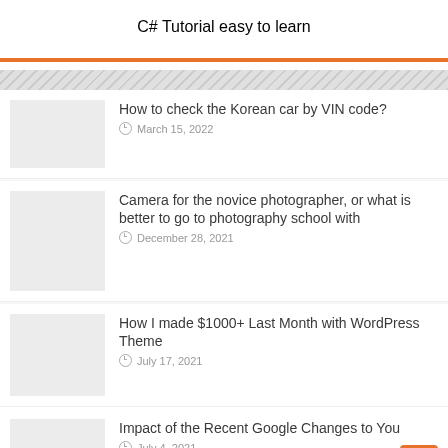C# Tutorial easy to learn
How to check the Korean car by VIN code? — March 15, 2022
Camera for the novice photographer, or what is better to go to photography school with — December 28, 2021
How I made $1000+ Last Month with WordPress Theme — July 17, 2021
Impact of the Recent Google Changes to You — July 4, 2021